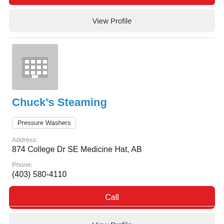[Figure (screenshot): Partial red call button from previous listing card, cut off at top]
View Profile
[Figure (illustration): Gray building/office placeholder icon]
Chuck's Steaming
Pressure Washers
Address:
874 College Dr SE Medicine Hat, AB
Phone:
(403) 580-4110
Call
View Profile